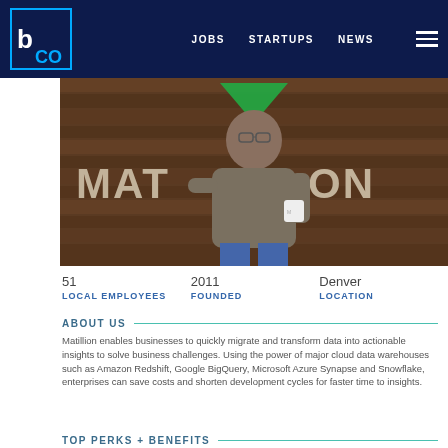b CO  JOBS  STARTUPS  NEWS
[Figure (photo): Man smiling in front of Matillion branded wooden wall backdrop, holding a white mug, wearing a gray hoodie and jeans.]
51
LOCAL EMPLOYEES
2011
FOUNDED
Denver
LOCATION
ABOUT US
Matillion enables businesses to quickly migrate and transform data into actionable insights to solve business challenges. Using the power of major cloud data warehouses such as Amazon Redshift, Google BigQuery, Microsoft Azure Synapse and Snowflake, enterprises can save costs and shorten development cycles for faster time to insights.
TOP PERKS + BENEFITS